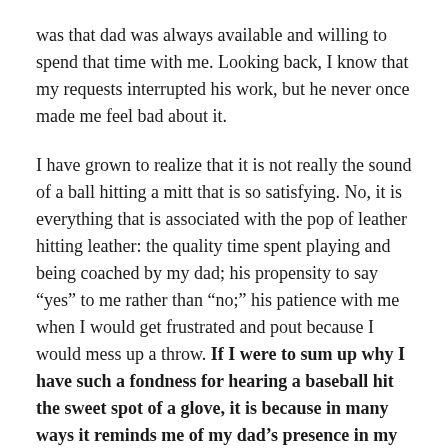was that dad was always available and willing to spend that time with me. Looking back, I know that my requests interrupted his work, but he never once made me feel bad about it.
I have grown to realize that it is not really the sound of a ball hitting a mitt that is so satisfying. No, it is everything that is associated with the pop of leather hitting leather: the quality time spent playing and being coached by my dad; his propensity to say “yes” to me rather than “no;” his patience with me when I would get frustrated and pout because I would mess up a throw. If I were to sum up why I have such a fondness for hearing a baseball hit the sweet spot of a glove, it is because in many ways it reminds me of my dad’s presence in my life. He was safe. He was available. He valued me and spent time with me.